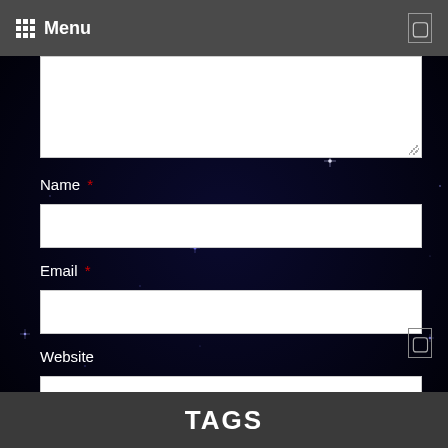Menu
Name *
Email *
Website
Post Comment
TAGS